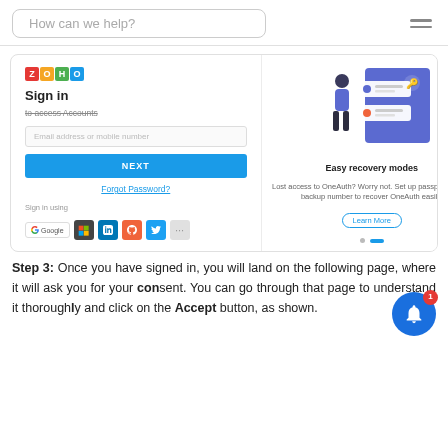How can we help?
[Figure (screenshot): Zoho sign-in page screenshot showing email/mobile input, NEXT button, Forgot Password link, social sign-in options, and Easy recovery modes panel on the right with an illustration.]
Step 3: Once you have signed in, you will land on the following page, where it will ask you for your consent. You can go through that page to understand it thoroughly and click on the Accept button, as shown.